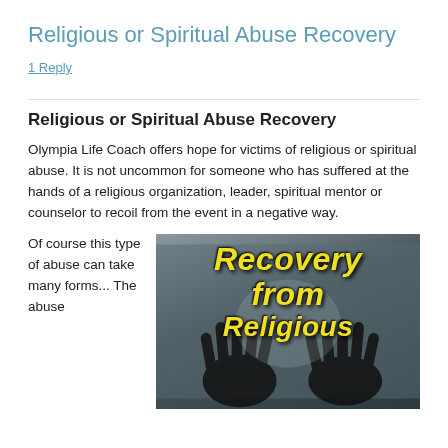Religious or Spiritual Abuse Recovery
1 Reply
Religious or Spiritual Abuse Recovery
Olympia Life Coach offers hope for victims of religious or spiritual abuse. It is not uncommon for someone who has suffered at the hands of a religious organization, leader, spiritual mentor or counselor to recoil from the event in a negative way.
Of course this type of abuse can take many forms... The abuse
[Figure (photo): Dark background image with two silhouetted hands raised, and yellow bold italic text reading 'Recovery from Religious']